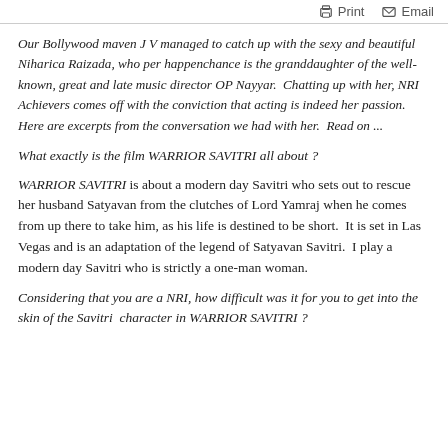Print  Email
Our Bollywood maven J V managed to catch up with the sexy and beautiful Niharica Raizada, who per happenchance is the granddaughter of the well-known, great and late music director OP Nayyar.  Chatting up with her, NRI Achievers comes off with the conviction that acting is indeed her passion. Here are excerpts from the conversation we had with her.  Read on ...
What exactly is the film WARRIOR SAVITRI all about ?
WARRIOR SAVITRI is about a modern day Savitri who sets out to rescue her husband Satyavan from the clutches of Lord Yamraj when he comes from up there to take him, as his life is destined to be short.  It is set in Las Vegas and is an adaptation of the legend of Satyavan Savitri.  I play a modern day Savitri who is strictly a one-man woman.
Considering that you are a NRI, how difficult was it for you to get into the skin of the Savitri  character in WARRIOR SAVITRI ?